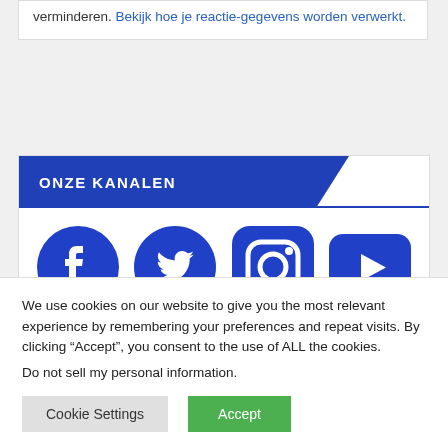verminderen. Bekijk hoe je reactie-gegevens worden verwerkt.
ONZE KANALEN
[Figure (logo): Four social media icons in blue: Facebook, Twitter, Instagram, YouTube]
We use cookies on our website to give you the most relevant experience by remembering your preferences and repeat visits. By clicking “Accept”, you consent to the use of ALL the cookies.
Do not sell my personal information.
Cookie Settings   Accept